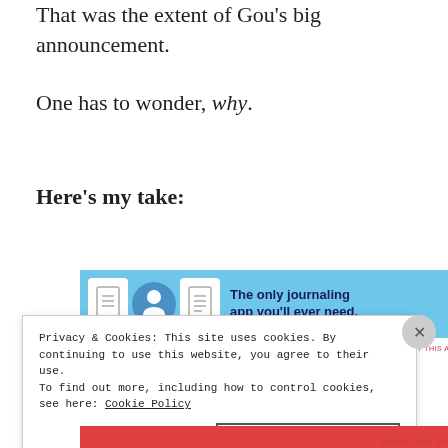That was the extent of Gou's big announcement.
One has to wonder, why.
Here's my take:
[Figure (screenshot): Advertisement banner for a journaling app. Light blue background with icons of a book, a person, and a notebook, with text 'The only journaling app you'll ever need.' REPORT THIS AD label below.]
Privacy & Cookies: This site uses cookies. By continuing to use this website, you agree to their use.
To find out more, including how to control cookies, see here: Cookie Policy
Close and accept